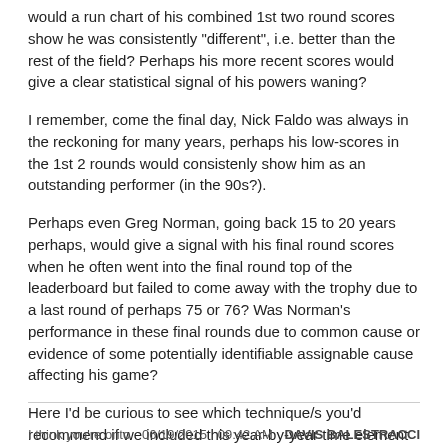would a run chart of his combined 1st two round scores show he was consistently "different", i.e. better than the rest of the field? Perhaps his more recent scores would give a clear statistical signal of his powers waning?
I remember, come the final day, Nick Faldo was always in the reckoning for many years, perhaps his low-scores in the 1st 2 rounds would consistenly show him as an outstanding performer (in the 90s?).
Perhaps even Greg Norman, going back 15 to 20 years perhaps, would give a signal with his final round scores when he often went into the final round top of the leaderboard but failed to come away with the trophy due to a last round of perhaps 75 or 76? Was Norman's performance in these final rounds due to common cause or evidence of some potentially identifiable assignable cause affecting his game?
Here I'd be curious to see which technique/s you'd recommend if we included this year-by-year time element in the process as well.
thanks, scott.
reply
I think you're onto    06/19/2015   09:42 AM    DAVIS BALESTRACCI